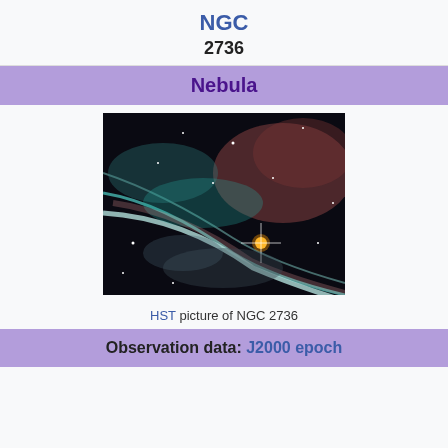NGC
2736
Nebula
[Figure (photo): HST image of NGC 2736 nebula showing filamentary structure with bright star and glowing gas clouds against a dark background]
HST picture of NGC 2736
Observation data: J2000 epoch